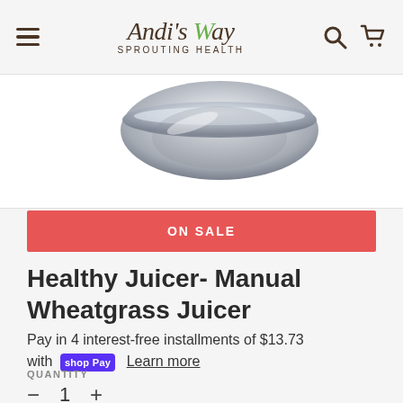Andi's Way Sprouting Health — navigation header with hamburger menu, logo, search and cart icons
[Figure (photo): Partial product image of a Manual Wheatgrass Juicer, showing a chrome/metallic bowl/funnel component against a white background]
ON SALE
Healthy Juicer- Manual Wheatgrass Juicer
Pay in 4 interest-free installments of $13.73 with Shop Pay Learn more
QUANTITY
- 1 +